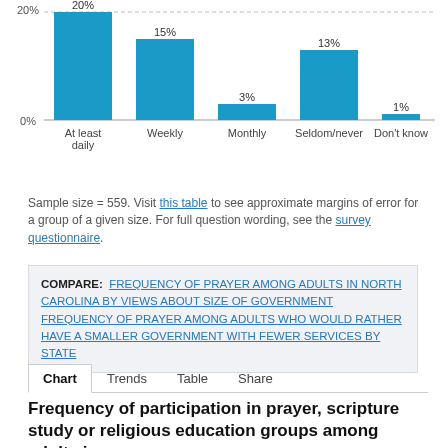[Figure (bar-chart): Frequency of prayer among adults in North Carolina]
Sample size = 559. Visit this table to see approximate margins of error for a group of a given size. For full question wording, see the survey questionnaire.
COMPARE: FREQUENCY OF PRAYER AMONG ADULTS IN NORTH CAROLINA BY VIEWS ABOUT SIZE OF GOVERNMENT   FREQUENCY OF PRAYER AMONG ADULTS WHO WOULD RATHER HAVE A SMALLER GOVERNMENT WITH FEWER SERVICES BY STATE
Frequency of participation in prayer, scripture study or religious education groups among adults in